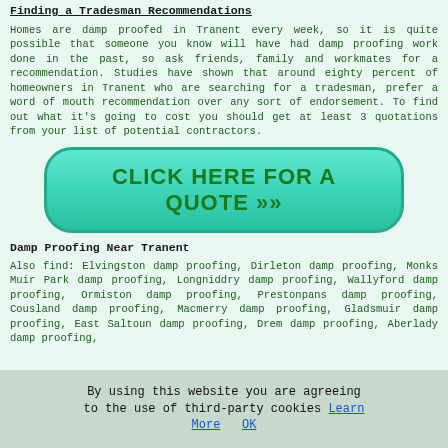Finding a Tradesman Recommendations
Homes are damp proofed in Tranent every week, so it is quite possible that someone you know will have had damp proofing work done in the past, so ask friends, family and workmates for a recommendation. Studies have shown that around eighty percent of homeowners in Tranent who are searching for a tradesman, prefer a word of mouth recommendation over any sort of endorsement. To find out what it's going to cost you should get at least 3 quotations from your list of potential contractors.
[Figure (other): Green call-to-action button with teal background and rounded corners reading CLICK HERE FOR A QUOTE >>]
Damp Proofing Near Tranent
Also find: Elvingston damp proofing, Dirleton damp proofing, Monks Muir Park damp proofing, Longniddry damp proofing, Wallyford damp proofing, Ormiston damp proofing, Prestonpans damp proofing, Cousland damp proofing, Macmerry damp proofing, Gladsmuir damp proofing, East Saltoun damp proofing, Drem damp proofing, Aberlady damp proofing,
By using this website you are agreeing to the use of third-party cookies Learn More OK